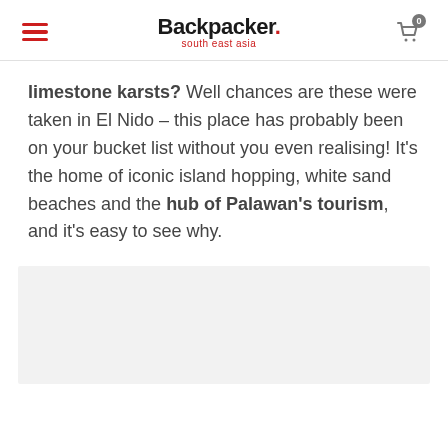Backpacker. south east asia
limestone karsts? Well chances are these were taken in El Nido – this place has probably been on your bucket list without you even realising! It's the home of iconic island hopping, white sand beaches and the hub of Palawan's tourism, and it's easy to see why.
[Figure (photo): Image placeholder area (light grey background)]